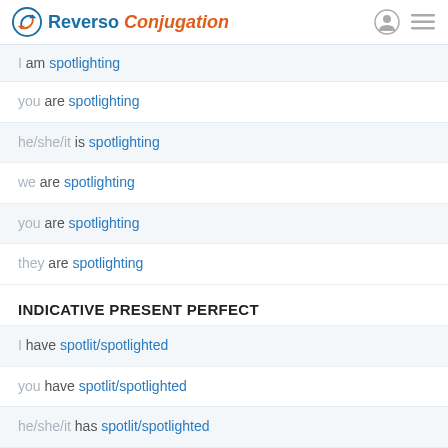Reverso Conjugation
I am spotlighting
you are spotlighting
he/she/it is spotlighting
we are spotlighting
you are spotlighting
they are spotlighting
INDICATIVE PRESENT PERFECT
I have spotlit/spotlighted
you have spotlit/spotlighted
he/she/it has spotlit/spotlighted